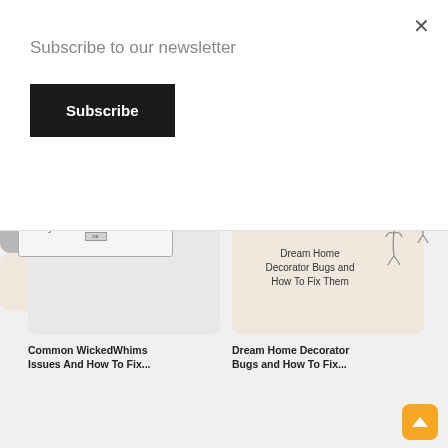Subscribe to our newsletter
Subscribe
[Figure (screenshot): Close button (×) in top right corner of modal]
[Figure (screenshot): Screenshot of a gray card thumbnail placeholder (left top)]
[Figure (illustration): Dream Home Decorator Bugs and How To Fix Them — beige card with line-art figure doodle]
Common WickedWhims Issues And How To Fix...
Dream Home Decorator Bugs and How To Fix...
[Figure (screenshot): Gray card with error dialog box showing application not found error]
[Figure (illustration): How I Organize My Mods Folder — beige card with line-art figure doodle]
[Figure (other): Orange scroll-to-top button with upward chevron arrow]